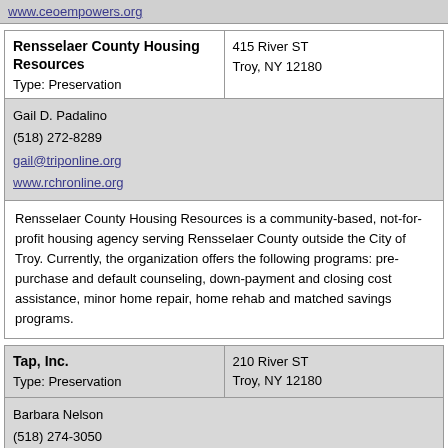www.ceoempowers.org
| Rensselaer County Housing Resources / Type: Preservation | 415 River ST Troy, NY 12180 |
| --- | --- |
Gail D. Padalino
(518) 272-8289
gail@triponline.org
www.rchronline.org
Rensselaer County Housing Resources is a community-based, not-for-profit housing agency serving Rensselaer County outside the City of Troy. Currently, the organization offers the following programs: pre-purchase and default counseling, down-payment and closing cost assistance, minor home repair, home rehab and matched savings programs.
| Tap, Inc. / Type: Preservation | 210 River ST Troy, NY 12180 |
| --- | --- |
Barbara Nelson
(518) 274-3050
bnelson@tapinc.org
www.tapinc.org
TAP, Inc. provides design, architectural, planning and graphic assistance to